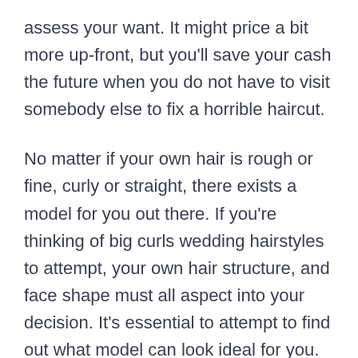assess your want. It might price a bit more up-front, but you'll save your cash the future when you do not have to visit somebody else to fix a horrible haircut.
No matter if your own hair is rough or fine, curly or straight, there exists a model for you out there. If you're thinking of big curls wedding hairstyles to attempt, your own hair structure, and face shape must all aspect into your decision. It's essential to attempt to find out what model can look ideal for you.
Get wedding hairstyles that matches along with your hair's texture. A good haircut should focus on the things you prefer about